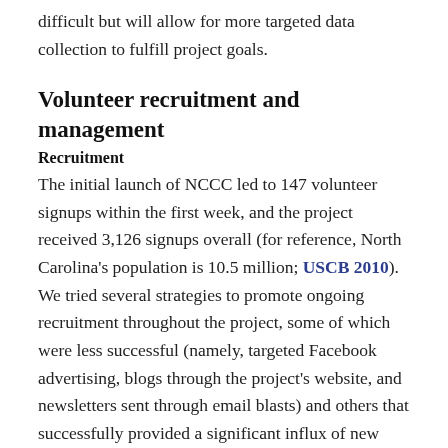difficult but will allow for more targeted data collection to fulfill project goals.
Volunteer recruitment and management
Recruitment
The initial launch of NCCC led to 147 volunteer signups within the first week, and the project received 3,126 signups overall (for reference, North Carolina's population is 10.5 million; USCB 2010). We tried several strategies to promote ongoing recruitment throughout the project, some of which were less successful (namely, targeted Facebook advertising, blogs through the project's website, and newsletters sent through email blasts) and others that successfully provided a significant influx of new recruits. Our first webinar (signups = 147 within a week of release), first